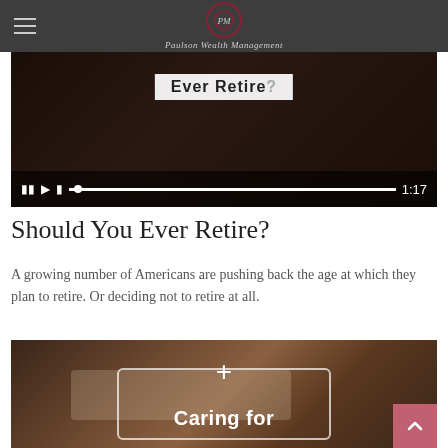Paulson Wealth Management
[Figure (screenshot): Video player showing 'Should You Ever Retire?' title text with playback controls at bottom showing pause, play, scrubber and timestamp 1:17]
Should You Ever Retire?
A growing number of Americans are pushing back the age at which they plan to retire. Or deciding not to retire at all.
[Figure (photo): Photo of elderly woman at a dining table with food, overlaid with a white plus icon and 'Caring for' text with decorative border]